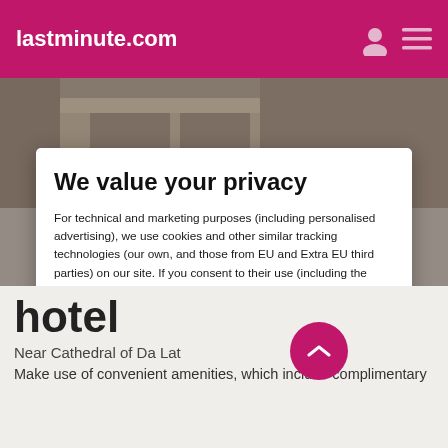lastminute.com
[Figure (screenshot): Background hotel room image strip]
We value your privacy
For technical and marketing purposes (including personalised advertising), we use cookies and other similar tracking technologies (our own, and those from EU and Extra EU third parties) on our site. If you consent to their use (including the Extra EU data transfer) according to our Cookie policy, and would like to continue, please click "Accept all".
Go to Review settings to update your preferences, including in regard to the data transfer in Extra-EU countries, or click here to continue without non mandatory cookies.
ACCEPT ALL
hotel
Near Cathedral of Da Lat
Make use of convenient amenities, which include complimentary